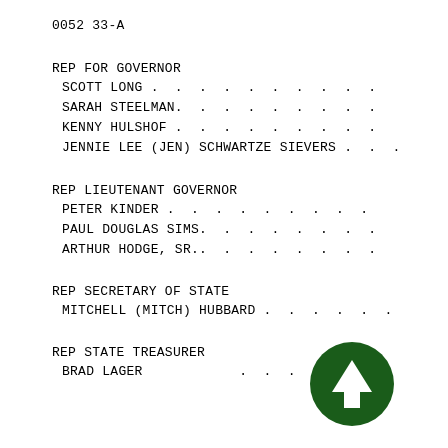0052 33-A
REP FOR GOVERNOR
SCOTT LONG . . . . . . . . . . .
SARAH STEELMAN. . . . . . . . . .
KENNY HULSHOF . . . . . . . . . .
JENNIE LEE (JEN) SCHWARTZE SIEVERS . . .
REP LIEUTENANT GOVERNOR
PETER KINDER . . . . . . . . . .
PAUL DOUGLAS SIMS. . . . . . . . .
ARTHUR HODGE, SR.. . . . . . . . .
REP SECRETARY OF STATE
MITCHELL (MITCH) HUBBARD . . . . . .
REP STATE TREASURER
BRAD LAGER . . . . . . . . . .